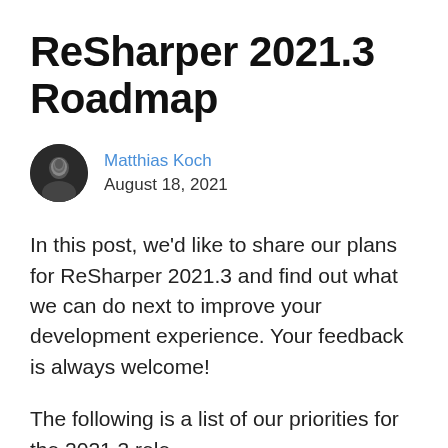ReSharper 2021.3 Roadmap
Matthias Koch
August 18, 2021
In this post, we’d like to share our plans for ReSharper 2021.3 and find out what we can do next to improve your development experience. Your feedback is always welcome!
The following is a list of our priorities for the 2021.3 release. Note that the